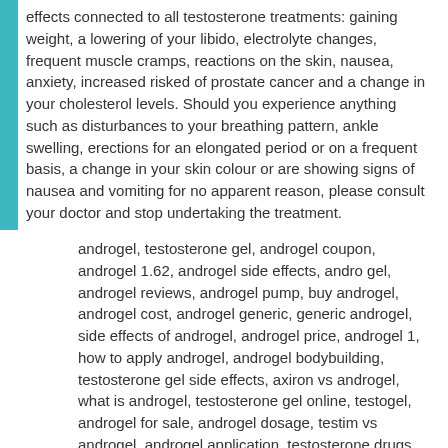effects connected to all testosterone treatments: gaining weight, a lowering of your libido, electrolyte changes, frequent muscle cramps, reactions on the skin, nausea, anxiety, increased risked of prostate cancer and a change in your cholesterol levels. Should you experience anything such as disturbances to your breathing pattern, ankle swelling, erections for an elongated period or on a frequent basis, a change in your skin colour or are showing signs of nausea and vomiting for no apparent reason, please consult your doctor and stop undertaking the treatment.
androgel, testosterone gel, androgel coupon, androgel 1.62, androgel side effects, andro gel, androgel reviews, androgel pump, buy androgel, androgel cost, androgel generic, generic androgel, side effects of androgel, androgel price, androgel 1, how to apply androgel, androgel bodybuilding, testosterone gel side effects, axiron vs androgel, what is androgel, testosterone gel online, testogel, androgel for sale, androgel dosage, testim vs androgel, androgel application, testosterone drugs, androgel online, androgel wiki, does androgel work, androgel com, fortesta vs androgel, buy androgel online, androgel 1.62 coupon, testosterone cream